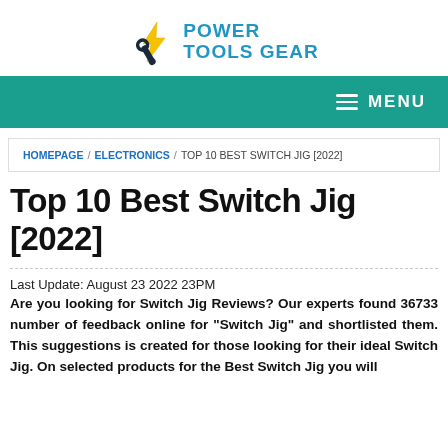[Figure (logo): Power Tools Gear logo with wrench/lightning bolt icon and blue text]
MENU
HOMEPAGE / ELECTRONICS / TOP 10 BEST SWITCH JIG [2022]
Top 10 Best Switch Jig [2022]
Last Update: August 23 2022 23PM
Are you looking for Switch Jig Reviews? Our experts found 36733 number of feedback online for "Switch Jig" and shortlisted them. This suggestions is created for those looking for their ideal Switch Jig. On selected products for the Best Switch Jig you will...